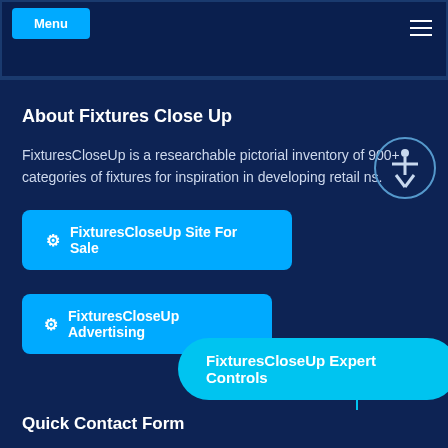[Figure (screenshot): Top navigation bar with cyan button and hamburger menu icon on dark navy background]
About Fixtures Close Up
FixturesCloseUp is a researchable pictorial inventory of 900+ categories of fixtures for inspiration in developing retail ns.
FixturesCloseUp Site For Sale
FixturesCloseUp Advertising
FixturesCloseUp Expert Controls
Quick Contact Form